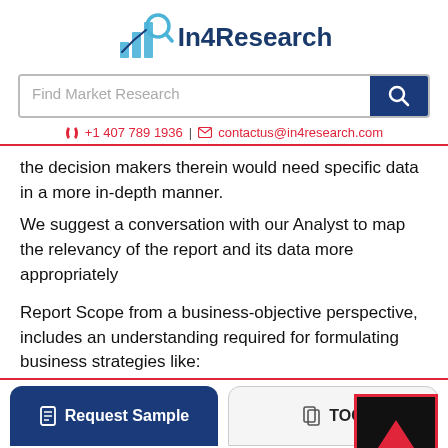In4Research | Find Market Research | +1 407 789 1936 | contactus@in4research.com
the decision makers therein would need specific data in a more in-depth manner.
We suggest a conversation with our Analyst to map the relevancy of the report and its data more appropriately
Report Scope from a business-objective perspective, includes an understanding required for formulating business strategies like:
--> New product launch
--> New client acquisition
--> New opportunity mapping (market level and